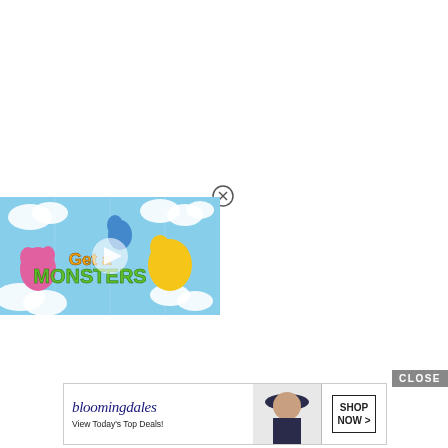[Figure (screenshot): Video player showing 'Get Along Monsters' children's cartoon with blue sky, clouds, and cartoon monster characters. A play button triangle is visible in the center.]
[Figure (other): Close (X) button circle icon for dismissing the video popup]
CLOSE
[Figure (other): Bloomingdale's advertisement banner: logo text 'bloomingdales', subtext 'View Today's Top Deals!', model in hat, and 'SHOP NOW >' button]